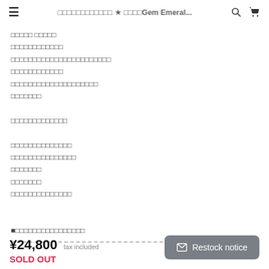≡  ★ Gem Emeral...  🔍  🛒
【tofu characters - product description text in Japanese with bold title line, multiple lines of content, separator, and notice line】
¥24,800 tax included
SOLD OUT
Restock notice